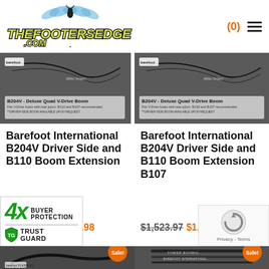[Figure (logo): ThefootersEdge.com logo with stylized yellow-green lettering and wings, black outline]
(0)
[Figure (photo): Barefoot International B204V Deluxe Quad V-Drive Boom product photo on grey background]
Barefoot International B204V Driver Side and B110 Boom Extension
$1,346.98 $1,246.98
[Figure (photo): Barefoot International B204V Deluxe Quad V-Drive Boom product photo on grey background]
Barefoot International B204V Driver Side and B110 Boom Extension B107
$1,523.97 $1,423.97
[Figure (photo): Bottom-left product photo showing a curved boom/bar on dark background with Sale badge]
[Figure (logo): 4x Buyer Protection Trust Guard badge overlay]
[Figure (photo): Bottom-right product photo showing tower boom rods on dark background with Sale badge]
[Figure (other): reCAPTCHA privacy overlay with spinning circle icon, Privacy and Terms text]